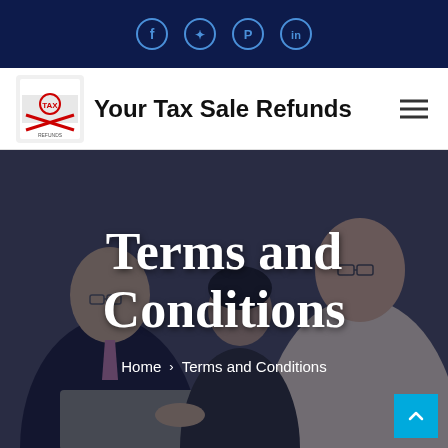Social media icons: Facebook, Twitter, Pinterest, LinkedIn
[Figure (logo): Your Tax Sale Refunds logo with text and graphic emblem]
Your Tax Sale Refunds
[Figure (photo): Background photo of business professionals in a meeting, with a dark overlay]
Terms and Conditions
Home > Terms and Conditions